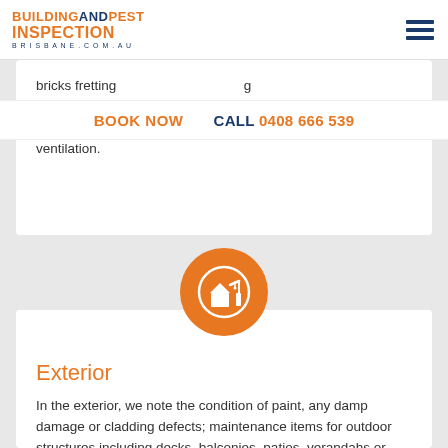BUILDING AND PEST INSPECTION BRISBANE.COM.AU
bricks fretting damage, inadequate o blocked vents, visible flashings and weep hole ventilation.
BOOK NOW   CALL 0408 666 539
[Figure (illustration): Orange circle icon with white building/crane illustration representing exterior inspection]
Exterior
In the exterior, we note the condition of paint, any damp damage or cladding defects; maintenance items for outdoor structures including decks, balconies, patios, verandahs or pergolas; plus defects and safety hazards relating to handrails, retaining walls and